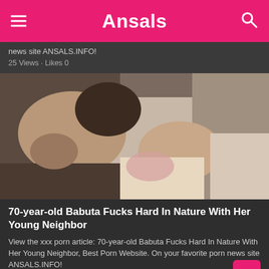Ansals
news site ANSALS.INFO!
25 Views · Likes 0
[Figure (photo): Adult content image - two people on a bed]
70-year-old Babuta Fucks Hard In Nature With Her Young Neighbor
View the xxx porn article: 70-year-old Babuta Fucks Hard In Nature With Her Young Neighbor, Best Porn Website. On your favorite porn news site ANSALS.INFO!
25 Views · Likes 0